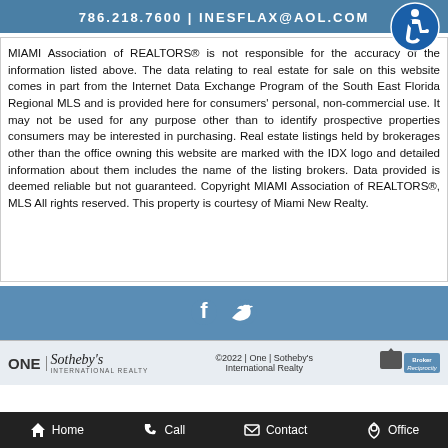786.218.7600 | INESFLAX@AOL.COM
MIAMI Association of REALTORS® is not responsible for the accuracy of the information listed above. The data relating to real estate for sale on this website comes in part from the Internet Data Exchange Program of the South East Florida Regional MLS and is provided here for consumers' personal, non-commercial use. It may not be used for any purpose other than to identify prospective properties consumers may be interested in purchasing. Real estate listings held by brokerages other than the office owning this website are marked with the IDX logo and detailed information about them includes the name of the listing brokers. Data provided is deemed reliable but not guaranteed. Copyright MIAMI Association of REALTORS®, MLS All rights reserved. This property is courtesy of Miami New Realty.
[Figure (logo): Accessibility icon - blue circle with wheelchair user symbol]
[Figure (logo): Social media icons: Facebook and Twitter in footer band]
[Figure (logo): One Sotheby's International Realty logo]
©2022 | One | Sotheby's International Realty
[Figure (logo): Broker Reciprocity badge]
Home | Call | Contact | Office